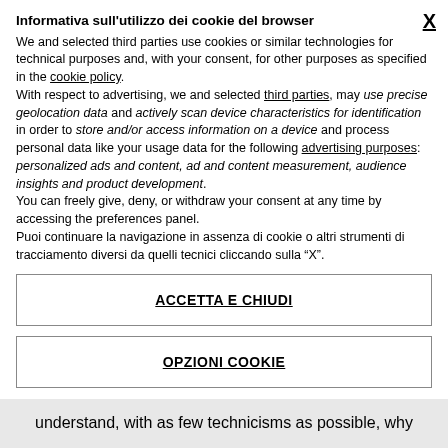Informativa sull'utilizzo dei cookie del browser
We and selected third parties use cookies or similar technologies for technical purposes and, with your consent, for other purposes as specified in the cookie policy. With respect to advertising, we and selected third parties, may use precise geolocation data and actively scan device characteristics for identification in order to store and/or access information on a device and process personal data like your usage data for the following advertising purposes: personalized ads and content, ad and content measurement, audience insights and product development. You can freely give, deny, or withdraw your consent at any time by accessing the preferences panel. Puoi continuare la navigazione in assenza di cookie o altri strumenti di tracciamento diversi da quelli tecnici cliccando sulla “X”.
ACCETTA E CHIUDI
OPZIONI COOKIE
understand, with as few technicisms as possible, why